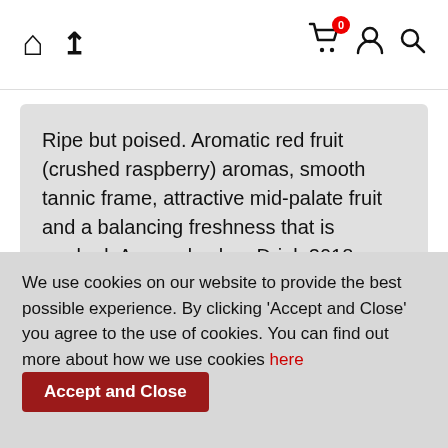[Figure (screenshot): Navigation bar with home icon, upload icon on left; shopping cart with badge '0', person icon, and search icon on right]
Ripe but poised. Aromatic red fruit (crushed raspberry) aromas, smooth tannic frame, attractive mid-palate fruit and a balancing freshness that is marked. Assured value. Drink 2018-2035.
17.5  James Lawther MW, Decanter.com, April 2010
We use cookies on our website to provide the best possible experience. By clicking 'Accept and Close' you agree to the use of cookies. You can find out more about how we use cookies here